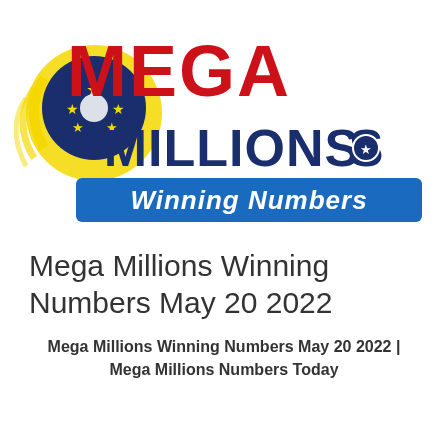[Figure (logo): Mega Millions Winning Numbers logo — 'MEGA' in large red bold letters, 'MILLIONS' in large dark blue bold letters with a white star on the last letter, a yellow circular swoosh with a dark blue star-covered ball on the left, and a blue rectangle banner below reading 'Winning Numbers' in white bold italic text.]
Mega Millions Winning Numbers May 20 2022
Mega Millions Winning Numbers May 20 2022 | Mega Millions Numbers Today